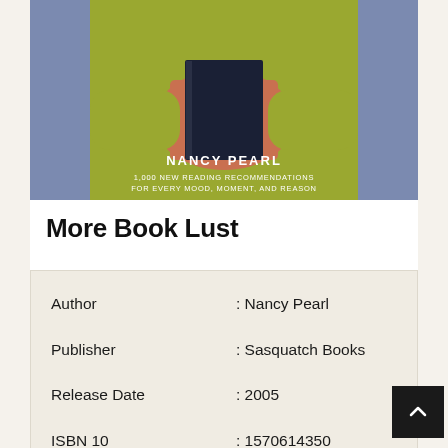[Figure (photo): Book cover of 'More Book Lust' by Nancy Pearl showing a person in a yellow-green sweater holding a book, with text '1,000 New Reading Recommendations for Every Mood, Moment, and Reason']
More Book Lust
| Author | : Nancy Pearl |
| Publisher | : Sasquatch Books |
| Release Date | : 2005 |
| ISBN 10 | : 1570614350 |